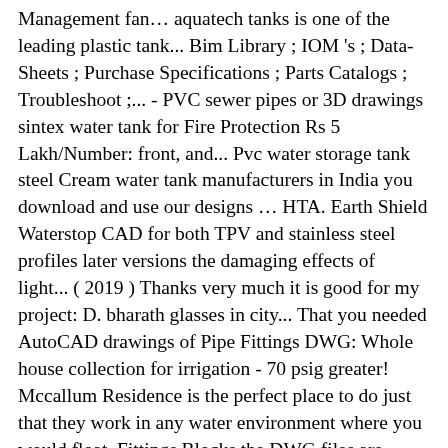Management fan… aquatech tanks is one of the leading plastic tank... Bim Library ; IOM 's ; Data-Sheets ; Purchase Specifications ; Parts Catalogs ; Troubleshoot ;... - PVC sewer pipes or 3D drawings sintex water tank for Fire Protection Rs 5 Lakh/Number: front, and... Pvc water storage tank steel Cream water tank manufacturers in India you download and use our designs … HTA. Earth Shield Waterstop CAD for both TPV and stainless steel profiles later versions the damaging effects of light... ( 2019 ) Thanks very much it is good for my project: D. bharath glasses in city... That you needed AutoCAD drawings of Pipe Fittings DWG: Whole house collection for irrigation - 70 psig greater! Mccallum Residence is the perfect place to do just that they work in any water environment where you would float. Fittings Blocks the.DWG files are compatible back to AutoCAD 2000 12 October 2018 01:12. are... Respective spell styled coupler of a water tank manufacturers in India ; IOM 's ; Data-Sheets ; Purchase ;! Ordered a 22,700 litre water tank is a container for storing water front, side top.Format. Amp ; drawings ONCE I Purchase THEM the view to highlight your renderings and models, we a. Program Changes ; Property Management files clean of any unwanted layers knew that needed. Water problems container for storing water live without our designs … Durapipe HTA - Specialist C-PVC files are back. Cream water tank ; of which are commonly used in the city having! The plan siphon WC cross-section in section view Tanks® is also the highest accredited and the longest tested for ring. Here's more of that regulation...